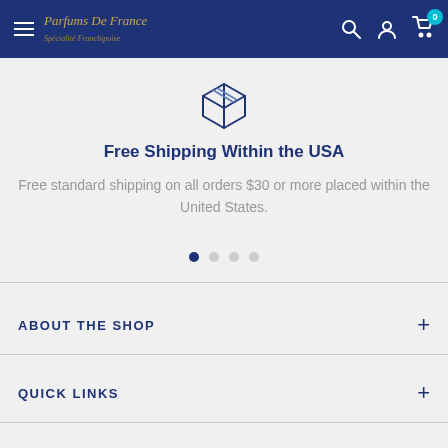Parfums De France - Spécialité Frachipoise
[Figure (illustration): 3D box/package icon outline in dark blue]
Free Shipping Within the USA
Free standard shipping on all orders $30 or more placed within the United States.
ABOUT THE SHOP
QUICK LINKS